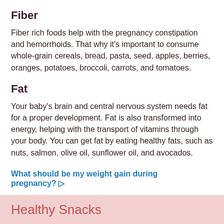Fiber
Fiber rich foods help with the pregnancy constipation and hemorrhoids. That why it's important to consume whole-grain cereals, bread, pasta, seed, apples, berries, oranges, potatoes, broccoli, carrots, and tomatoes.
Fat
Your baby's brain and central nervous system needs fat for a proper development. Fat is also transformed into energy, helping with the transport of vitamins through your body. You can get fat by eating healthy fats, such as nuts, salmon, olive oil, sunflower oil, and avocados.
What should be my weight gain during pregnancy? ▷
Healthy Snacks